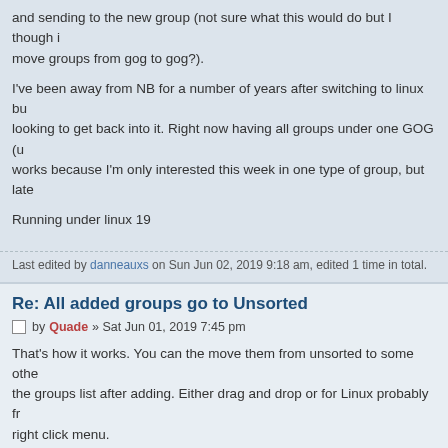and sending to the new group (not sure what this would do but I though it move groups from gog to gog?).
I've been away from NB for a number of years after switching to linux but looking to get back into it. Right now having all groups under one GOG (u works because I'm only interested this week in one type of group, but late
Running under linux 19
Last edited by danneauxs on Sun Jun 02, 2019 9:18 am, edited 1 time in total.
Re: All added groups go to Unsorted
by Quade » Sat Jun 01, 2019 7:45 pm
That's how it works. You can the move them from unsorted to some other the groups list after adding. Either drag and drop or for Linux probably fro right click menu.